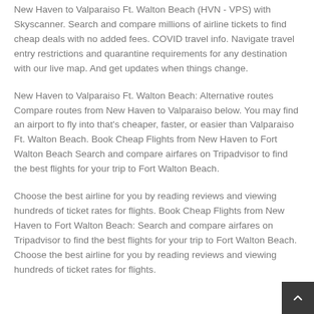New Haven to Valparaiso Ft. Walton Beach (HVN - VPS) with Skyscanner. Search and compare millions of airline tickets to find cheap deals with no added fees. COVID travel info. Navigate travel entry restrictions and quarantine requirements for any destination with our live map. And get updates when things change.
New Haven to Valparaiso Ft. Walton Beach: Alternative routes Compare routes from New Haven to Valparaiso below. You may find an airport to fly into that's cheaper, faster, or easier than Valparaiso Ft. Walton Beach. Book Cheap Flights from New Haven to Fort Walton Beach Search and compare airfares on Tripadvisor to find the best flights for your trip to Fort Walton Beach.
Choose the best airline for you by reading reviews and viewing hundreds of ticket rates for flights. Book Cheap Flights from New Haven to Fort Walton Beach: Search and compare airfares on Tripadvisor to find the best flights for your trip to Fort Walton Beach. Choose the best airline for you by reading reviews and viewing hundreds of ticket rates for flights.